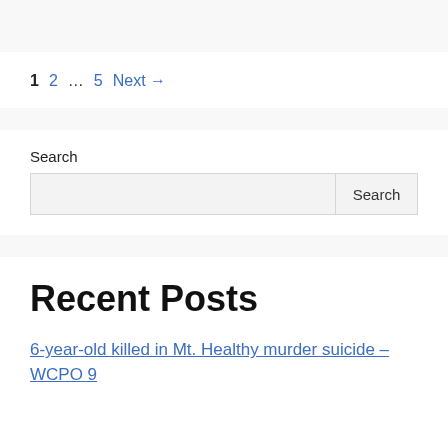1  2  …  5  Next →
Search
Recent Posts
6-year-old killed in Mt. Healthy murder suicide – WCPO 9